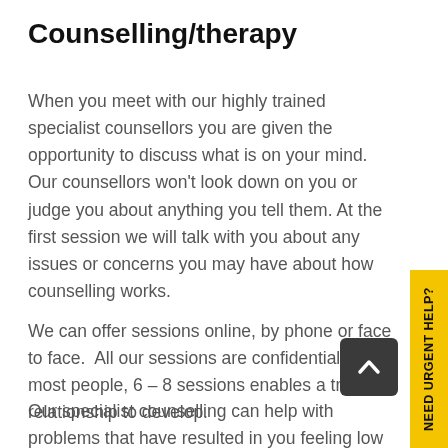Counselling/therapy
When you meet with our highly trained specialist counsellors you are given the opportunity to discuss what is on your mind.  Our counsellors won't look down on you or judge you about anything you tell them. At the first session we will talk with you about any issues or concerns you may have about how counselling works.
We can offer sessions online, by phone or face to face.  All our sessions are confidential, for most people, 6 – 8 sessions enables a trusting relationship to develop.
Our specialist counselling can help with problems that have resulted in you feeling low or worried or